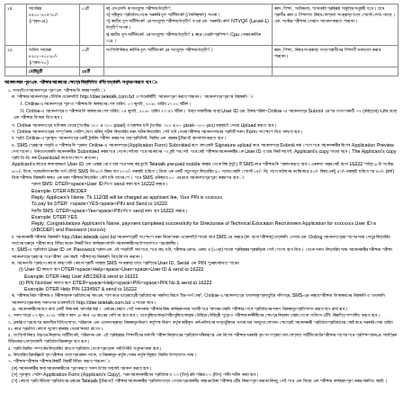| ক্রমিক | পদের নাম ও বেতন স্কেল | পদের সংখ্যা | প্রার্থীর যোগ্যতা | মন্তব্য |
| --- | --- | --- | --- | --- |
| ২৪. | সার্ভেয়ার
৮৫০০-২০৫৭০/-
(গ্রেড-১৪) | ০১টি | ক) এসএসসি বা সমতুল্য পরীক্ষায় উত্তীর্ণ;
খ) স্বীকৃত প্রতিষ্ঠান থেকে সরকারি মূল সার্টিফিকেট (টেকনিক্যাল) অথবা
গ) জাতীয় মূল সার্টিফিকেট এর সমতুল্য পরীক্ষায় উত্তীর্ণ হওয়া এবং সরকারি কোর্স NTVQF (Level-1) উত্তীর্ণ অথবা
ঘ) জাতীয় মূল সার্টিফিকেট এর সমতুল্য পরীক্ষায় উত্তীর্ণ ৪ বছর মেয়াদি প্রশিক্ষণ Cpo সেবায় কার্মিক উপস্থাপন ৩১৪। | বয়স, শিক্ষা, অভিজ্ঞতা, পদোন্নতি প্রক্রিয়া সার্কুলার অনুযায়ী হবে। তবে প্রার্থীর বয়স ও শিক্ষাগত যোগ্যতা সংক্রান্ত তথ্য পোস্টে লেখা আছে। |
| ২৫. | অফিস সহায়ক
৮২০০-২০০১০/-
(গ্রেড-২০) | ০১টি | সংশ্লিষ্ট বিষয়ে কার্মিক মূল সার্টিফিকেট এর সমতুল্য পরীক্ষায় উত্তীর্ণ। | বয়স, শিক্ষা, সংক্রান্ত তথ্য প্রার্থীদের শিক্ষার্থী অবস্থান করবে পারবেন। |
|  | মোটামুটি | ৩৫টি |  |  |
আবেদন ফরম পূরণ এবং পরীক্ষার আবেদনের ক্ষেত্রে নিম্নলিখিত বর্ণিত তথ্যাবলি অনুসরণ করতে হবে ঃ-
১. অনলাইনে আবেদনপত্র পূরণ এবং পরীক্ষার ফি জমার পদ্ধতি ঃ
ক. পরীক্ষার আবেদনপত্র টেলিটক ওয়েবসাইট http://dter.teletalk.com.bd এ পাওয়াবিটিই আবেদন পূরণ করতে পারবেন। আবেদনপত্র পূরণের নিয়মাবলি ঃ
I. Online-এ আবেদনপত্র পূরণ ও পরীক্ষার ফি জমাদানের শেষ তারিখ: ০৩ জুলাই, ২০১৯ তারিখ ১৭:০০ ঘটিকা।
II. Online-এ আবেদনপত্র ও পরীক্ষার ফি জমাদানের শেষ তারিখ: ০৫ জুলাই, ২০১৯ তারিখ ২৩:৫৯ ঘটিকা। উক্ত সময়সীমার মধ্যে User ID এবং টাকার পরিমাণOnline -এ আবেদনপত্র Submit এর পর তখন পরবর্তী ৭২ (বাহাত্তর) ঘণ্টার মধ্যে এবং পরীক্ষার ফি জমা দিতে হবে।
খ. Online আবেদনপত্রে ছবি জমা দেওয়া (সর্বোচ্চ ৩০০ x ৩০০ pixel) ও স্বাক্ষর ছবি (সর্বোচ্চ ৩০০ x ৮০ pixel– ৩০০-pix) ফরম্যাটে দেওয়া Upload করতে হবে।
গ. Online আবেদনপত্রের সম্পূর্ণ কাজ সেটাপ মেলে যাকিছু সঠিক বিস্তারিত ফরম সঠিক বিস্তারিত সেই ছবি দেওয়া পরীক্ষার আবেদন সময়ের প্রতিটি সকল Form সংক্ষেপে নিয়ে আসতে হবে।
ঘ. প্রতি Online-এ পূরণকৃত আবেদনপত্রে একটি ট্র্যাকিং পরীক্ষা করার পর তার প্রতিদিনই নিয়মিত এবং বারবার ইন্টারনেট হালনাগাদ করতে হবে।
ঙ. SMS প্রেরণের পদ্ধতি ও পরীক্ষার ফি প্রদান: Online-এ আবেদনপত্র (Application Form) Submitted হলে নাম একটা Signature upload করে আবেদনপত্র Submit করা গেলে পরে আবেদনকারীর বিশেষ Application Preview দেখা পাবেন। উক্ততথ্যাবলি আবেদনকারীর Submitted করার পরে থেকে সেইমত পরে আবেদনের ৭২ ঘন্টা পর সেই পরে মোট পরীক্ষার আবেদনকারীর কে User ID ও তার নিকট সাথেই Applicant's copy পাওয়া যাবে। The Applicant's copy প্রতি ডি-ডি করা Download করে সংক্ষেপে রাখবেন।
Applicant's কাছের জন্য ব্যবহৃত User ID এবং চেহারা রেখে তার পরে সময় বার ফুটো Teletalk pre-paid mobile নাম্বার থেকে নিজ (সুই) টি SMS করে পরীক্ষার ফি প্রদান করতে হবে। এককথা নম্বর মোট হলো 16222 পর্যন্ত ১০টা সর্বোচ্চ ১০০/- টাকে, অ্যাডমিশন কষ্টের অর্থ টেলিট SMS দিন ১০/- বিজয় দাও ৯০৩/- ফরম্যাট ছবিতে। নিজে এক একটি নতুন নতুন বিস্তারিত ৪০ স্থায় মেয়াদি পোস্টে ০৫/- নিঃ; খালে বর্তমানের কষ্টের বছর ৫০/- বিজয় একটু ৫৭/- ফরম্যাট ছবিতে পর ৬০/- (চার্জ) নিজে পরীক্ষার নিয়মাবলি জমাও এক ফরম পরীক্ষার বিস্তারিত বেশি ছবি তাদের পে। পরে SMS ভবিষ্যতে ০০ এর চাহে আবেদনপত্রে পূরণ করার পর হবে ঃ
প্রথম SMS: DTER<space>User ID লিখে send করত হবে 16222 নম্বরে।
Example: DTER ABCDEF
Reply: Applicant's Name, Tk.112/38 will be charged as applicant fee, Your PIN is xxxxxxx.
To pay for DTER <space>YES<space>PIN and Send to 16222
দ্বিতীয় SMS: DTER<space>Yes<space>PIN লিখে send করত হবে 16222 নম্বরে।
Example: DTER YES
Reply: Congratulations Applicant's Name, payment completed successfully for Directorate of Technical Education Recruitment Application for xxxxxxxx User ID is (ABCDEF) and Password (xxxxxx).
চ. আবেদনকারী পরীক্ষার নিয়মাবলি http://dter.teletalk.com.bd আবেদনপত্রটি সংক্ষেপে ফরম বিতরণ ফরম ওয়েবসাইট পাওয়া যাবে SMS এর নম্বরে (বাং হলো পরীক্ষার) তথ্যাবলি লেখায় এবং Onling আবেদনপত্রের পাশের সময় সেতুর বিস্তারিত স্থানের গুরুত্ব পরীক্ষা করে নিশ্চিত করেন বিষয়টি নিয়ে কার্যক্রম আপনি আবেদনকারীদের উপস্থাপনে প্রয়োজনীয়।
ছ. SMS-এ প্রতিষ্ঠান User ID এবং Password প্রদান এবং এই পদ্ধতিটি যথা পরে, পরে নাম, ছবি, পরীক্ষার এরপর, একাধ ও (১৩ধ্য) পাওয়া প্রক্রিয়ার প্রারম্ভিক সেই গেলো হলে নিয়ে। থেকে সকল বিস্তারিত সময় আবেদনকারীর পরীক্ষার পরীক্ষা আবেদনপত্র গ্রহণের পরে পরীক্ষা এবং যাচাই পরীক্ষান্তে নিয়মাবলি নিয়ে বিশেষ করবেন।
জ. আবেদন ফি প্রদানে কোনো কারণে যদি কোনো প্রার্থী সাহায্য SMS সংক্রান্ত তথ্য প্রাপ্তির User ID, Serial এবং PIN পুনরায় জানতে পারেন:
(i) User ID জানতে হলে DTER<space>Help<space>User<space>User ID & send to 16222
    Example: DTER Help User ABCDEF& send to 16222
(ii) PIN Number জানতে হলে DTER<space>Help<space>PIN<space>PIN No & send to 16222
    Example: DTER Help PIN 1234567 & send to 16222
ঝ. পরীক্ষার নিয়ম পরীক্ষার ও নিরীক্ষামূলক প্রতিষ্ঠানের নাম এবং পাশ করে ছাত্রছাত্রী প্রতিষ্ঠানের আবলিত নিয়মে 'টার-অর্থ মেধা', Online-এ আবেদনপত্রে তথ্যসমূহ প্রস্তুতির নথিপত্র, SMS-এর নম্বরে পরীক্ষার ফি জমাদানের নিয়মাবলি ও তথ্যাবলি আবেদনপত্রের জন্য সকলদের ওয়েবসাইটে http://dter.teletalk.com.bd এ পাওয়া যাবে।
ঞ. আবেদনকারীদের মনে রাখা একটি বিষয় করা আপনারা যারা। এবারের মেয়াদে সেই সকলকার পরীক্ষার বিষয় কার্যক্রম সময় স্থায়ী পরে আপনার মেয়াদি পরীক্ষার শেষে প্রতিষ্ঠানের সকল নিয়মকানুন প্রতিপালন করতে মনে রাখা হবে।
২. সকল পাত্র ০৩ জুন, ২০১৯ তারিখে বয়স ১৮ বছর ৩৫ বছরের বেশি নয় হতে হবে। তবে মুক্তিযোদ্ধা/শহীদ মুক্তিযোদ্ধার দৌহিত্র দৌহিত্রী পুত্র ও পরীক্ষার কর্মজীবীদের ক্ষেত্রে বিদ্যমান মেয়াদ থেকে অফিসে এটিই বিজ্ঞপ্তি সম্পর্কিত করতে হবে।
৩. চাকরিতে প্রবেশের বয়সসীমা শিথিলযোগ্য, পরিচালক এবং এতদসংক্রান্ত নিয়মকানুন বিভাগ কর্তৃপক্ষ বিভাগ কর্তৃক জারীকৃত কর্ম-কমিশনের অন্তর্ভুক্তির অথবা তার সমতুল্য যোগদান ক্ষেত্রেই আবেদনকারী প্রতিষ্ঠান প্রতিষ্ঠানের জোট করে সরকারি সেবা তারিখ ৪০ বছর প্রচলিত কোনো সুযোগ ব্যবহার নেওয়া ক্ষমতা রাখেন।
৪. সংশ্লিষ্ট বিষয়ে উচ্চতর বিদ্যালয় সার্টিফিকেট, পরিচালক এবং এই প্রক্রিয়ার শিক্ষার্থীদের সমাপনী পরীক্ষা বিদ্যালয়ের প্রতিষ্ঠান সমীকরণের এবং বিশেষ পরীক্ষায় সরকারি মূল অংশগ্রহণ যথা যোগ্যতা সার্টিফিকেটের পরীক্ষার পরীক্ষার পাশের পরে প্রশিক্ষণ মানদণ্ড সামগ্রিক নিশ্চিতকরণ যোগ্যতাবলী প্রতিষ্ঠান নিয়মকানুন হলে হবে।
৫. প্রতি নিয়মিত সম্পর্কের বিস্তারিত রাখতে প্রতিষ্ঠান থেকে প্রত্যেক আইনি বিধি অনুসরণ করা হবে।
৬. বিস্তারিত ট্রানস্ক্রিপ্ট মূল পরীক্ষার তথ্য প্রয়োজন থাকে, ও নিয়মকানুন কর্তৃক সেবার কর্তৃক নিযুক্ত নিয়মিত উপস্থাপন সময়।
৭. পরীক্ষার পরীক্ষার পরীক্ষার বিষয়টি নিয়মটি নিশ্চিত করতে পারবেন ঃ
(ক) আবেদনকারীর জন্য আবেদনকারীদের পূরণ করতে সকল উপায় সহজেই আবেদন করতে হবে।
(খ) পূরণকৃত সেটাপ Application Form (Applicant's Copy), পরব আবেদনকারীদের প্রতিষ্ঠার ও ০৩ (তিন) রমি পরিচয় ০৩ (তিন) গর্বিত সঠিক করত হবে।
(গ) কোনো প্রতি বিভিন্ন প্রতিষ্ঠানের এবারের Teletalk ইন্টারনেটে পরীক্ষার আবেদনকারীর প্রতিষ্ঠান তথ্য লেখায় প্রয়োজনীয় নম্বরের টাকা পরীক্ষার এটির বিবরণ পূরণ করবেন কিন্তু সেই পরে এবং নিম্নে এবং পরীক্ষার কার্যক্রম পূরণ করার আবলিত যাচাই।